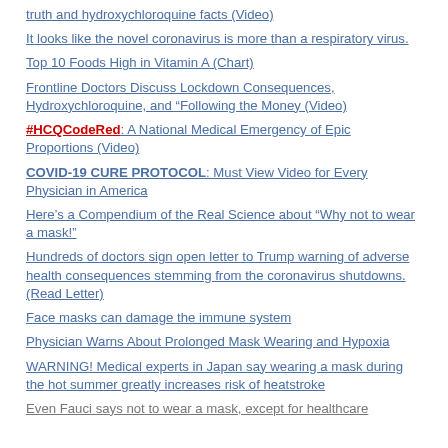truth and hydroxychloroquine facts (Video)
It looks like the novel coronavirus is more than a respiratory virus.
Top 10 Foods High in Vitamin A (Chart)
Frontline Doctors Discuss Lockdown Consequences, Hydroxychloroquine, and “Following the Money (Video)
#HCQCodeRed: A National Medical Emergency of Epic Proportions (Video)
COVID-19 CURE PROTOCOL: Must View Video for Every Physician in America
Here’s a Compendium of the Real Science about “Why not to wear a mask!”
Hundreds of doctors sign open letter to Trump warning of adverse health consequences stemming from the coronavirus shutdowns. (Read Letter)
Face masks can damage the immune system
Physician Warns About Prolonged Mask Wearing and Hypoxia
WARNING! Medical experts in Japan say wearing a mask during the hot summer greatly increases risk of heatstroke
Even Fauci says not to wear a mask, except for healthcare